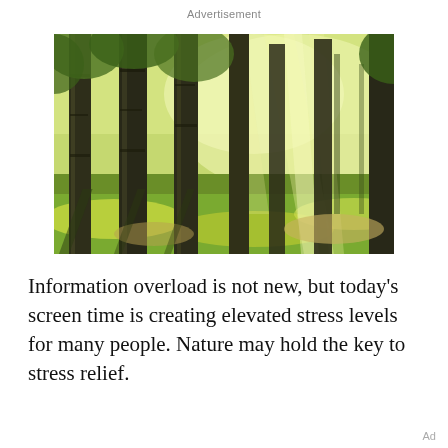Advertisement
[Figure (photo): Sunlight streaming through tall birch trees in a green forest park, with golden light rays filtering through the foliage and dappled shadows on the ground.]
Information overload is not new, but today's screen time is creating elevated stress levels for many people. Nature may hold the key to stress relief.
Ad